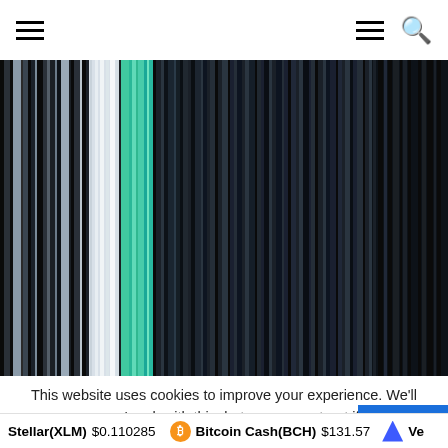Navigation header with hamburger menu and search icon
[Figure (illustration): Abstract vertical color stripes in black, dark gray, light gray, teal/mint green tones — decorative stripe pattern filling most of the page]
This website uses cookies to improve your experience. We'll assume you're ok with this, but you can opt-out if you w
Stellar(XLM) $0.110285   Bitcoin Cash(BCH) $131.57   Ve